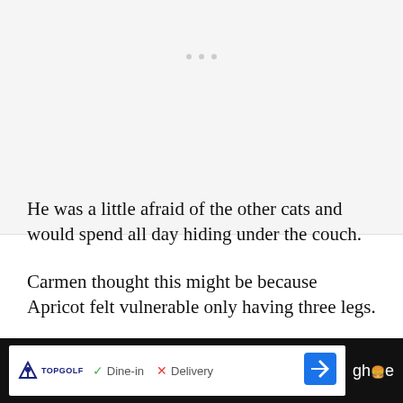[Figure (photo): Image placeholder with loading dots, light gray background]
He was a little afraid of the other cats and would spend all day hiding under the couch.
Carmen thought this might be because Apricot felt vulnerable only having three legs.
Carmen put up a video of Apricot on her
[Figure (other): Advertisement banner: Topgolf logo, Dine-in checkmark, Delivery X, navigation arrow icon, partially visible text]